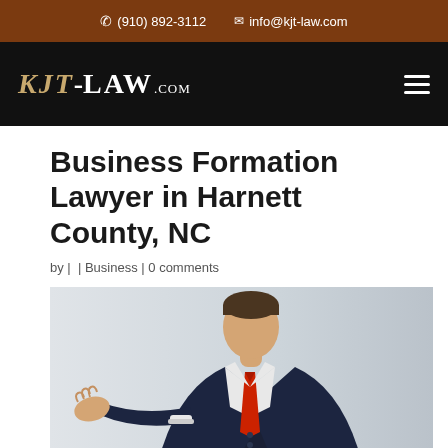(910) 892-3112  info@kjt-law.com
[Figure (logo): KJT-LAW.com logo on black navigation bar with hamburger menu icon]
Business Formation Lawyer in Harnett County, NC
by |  | Business | 0 comments
[Figure (photo): Businessman in dark suit with red tie, gesturing with open hand, white background]